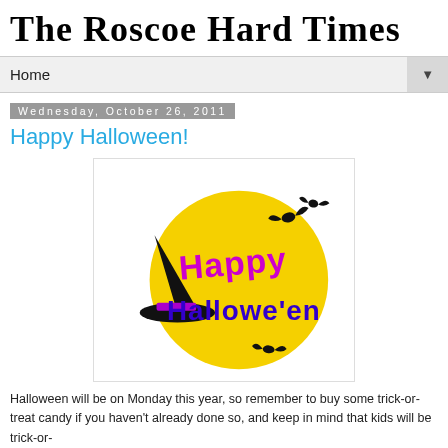The Roscoe Hard Times
Home ▼
Wednesday, October 26, 2011
Happy Halloween!
[Figure (illustration): Happy Halloween clipart: yellow moon circle with 'Happy Halloween' text in purple and blue, black witch hat silhouette on the left, black bat silhouettes flying around]
Halloween will be on Monday this year, so remember to buy some trick-or-treat candy if you haven't already done so, and keep in mind that kids will be trick-or-